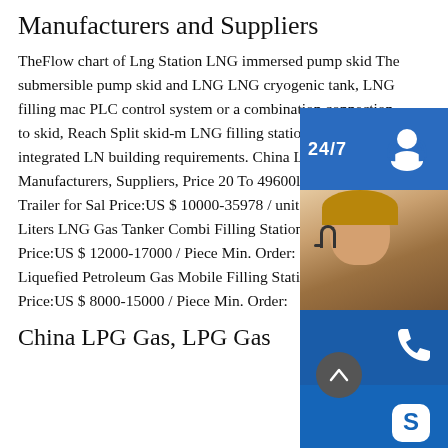Manufacturers and Suppliers
TheFlow chart of Lng Station LNG immersed pump skid The submersible pump skid and LNG LNG cryogenic tank, LNG filling machine, PLC control system or a combination connection to skid, Reach Split skid-mounted LNG filling stations and integrated LNG building requirements. China LPG Gas Manufacturers, Suppliers, Price 20 Ton 49600liters Gas Tanker Trailer for Sale, Price:US $ 10000-35978 / unit Min. Order: 15000 Liters LNG Gas Tanker Combined Filling Station for Sale . FOB Price:US $ 12000-17000 / Piece Min. Order: 5cbm 2.5ton Liquefied Petroleum Gas Mobile Filling Station . FOB Price:US $ 8000-15000 / Piece Min. Order:
[Figure (infographic): Customer service widget panel with 24/7 label, headset icon, phone icon, Skype icon, online live button, and a photo of a customer service representative]
PROVIDE
Empowering Cu...
China LPG Gas, LPG Gas